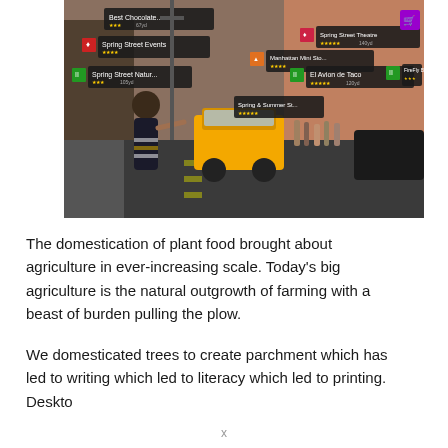[Figure (photo): Augmented reality overlay on a busy New York City street scene. A woman in a black and white patterned dress hails a yellow taxi cab. Multiple AR info panels float over the scene showing nearby businesses: 'Best Chocolate...', 'Spring Street Events', 'Spring Street Nature', 'Manhattan Mini Sto...', 'Spring Street Theatre', 'El Avion de Taco', 'FireFly Bar', and shopping cart icon. Buildings, street lights, and crowds visible in background.]
The domestication of plant food brought about agriculture in ever-increasing scale. Today’s big agriculture is the natural outgrowth of farming with a beast of burden pulling the plow.
We domesticated trees to create parchment which has led to writing which led to literacy which led to printing. Deskto